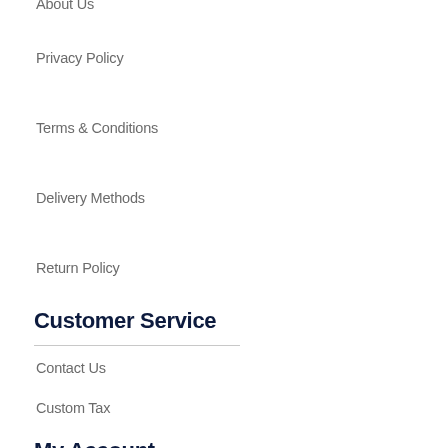About Us
Privacy Policy
Terms & Conditions
Delivery Methods
Return Policy
Customer Service
Contact Us
Custom Tax
Shipping Price
Cost & Fee
Payment Methods
My Account